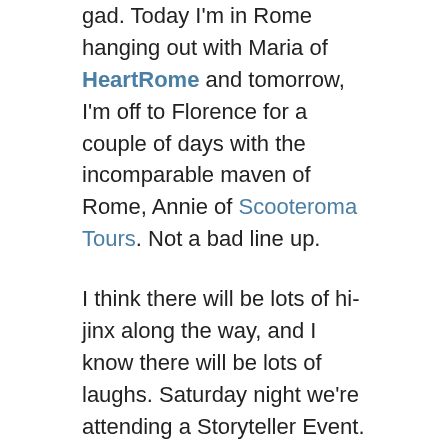gad. Today I'm in Rome hanging out with Maria of HeartRome and tomorrow, I'm off to Florence for a couple of days with the incomparable maven of Rome, Annie of Scooteroma Tours. Not a bad line up.
I think there will be lots of hi-jinx along the way, and I know there will be lots of laughs. Saturday night we're attending a Storyteller Event. Of course I'm telling one. I don't miss a chance and with Bad Advice as the theme I'm not at a loss for what to say.  Since Florence is the place to shop in Italy, I plan on trotting up and down the cobblestones in search of some quality, forever pieces for my closet.
While I'm out and about I'll be posting on Instagram and FB as well...